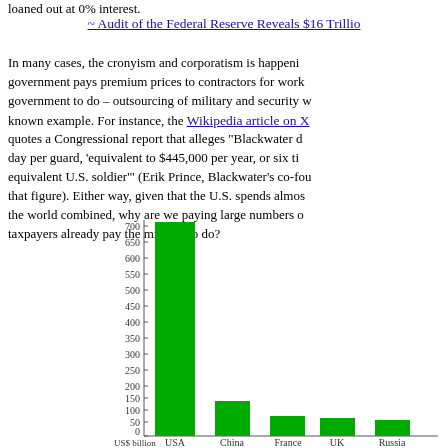loaned out at 0% interest.
~ Audit of the Federal Reserve Reveals $16 Trillio
In many cases, the cronyism and corporatism is happeni government pays premium prices to contractors for work government to do – outsourcing of military and security w known example. For instance, the Wikipedia article on X quotes a Congressional report that alleges "Blackwater d day per guard, 'equivalent to $445,000 per year, or six ti equivalent U.S. soldier'" (Erik Prince, Blackwater's co-fou that figure). Either way, given that the U.S. spends almos the world combined, why are we paying large numbers o taxpayers already pay the military to do?
[Figure (bar-chart): ]